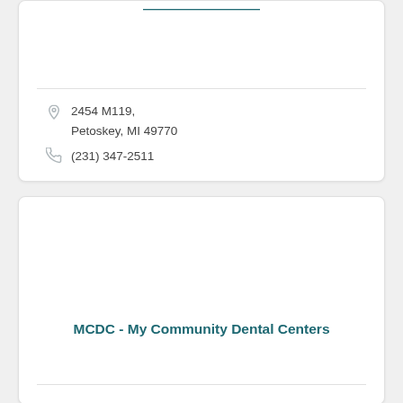2454 M119, Petoskey, MI 49770
(231) 347-2511
MCDC - My Community Dental Centers